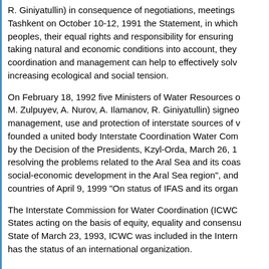R. Giniyatullin) in consequence of negotiations, meetings in Tashkent on October 10-12, 1991 the Statement, in which peoples, their equal rights and responsibility for ensuring taking natural and economic conditions into account, they coordination and management can help to effectively solve increasing ecological and social tension.
On February 18, 1992 five Ministers of Water Resources of M. Zulpuyev, A. Nurov, A. Ilamanov, R. Giniyatullin) signed management, use and protection of interstate sources of founded a united body Interstate Coordination Water Com by the Decision of the Presidents, Kzyl-Orda, March 26, 1 resolving the problems related to the Aral Sea and its coas social-economic development in the Aral Sea region", and countries of April 9, 1999 "On status of IFAS and its organ
The Interstate Commission for Water Coordination (ICWC States acting on the basis of equity, equality and consensu State of March 23, 1993, ICWC was included in the Intern has the status of an international organization.